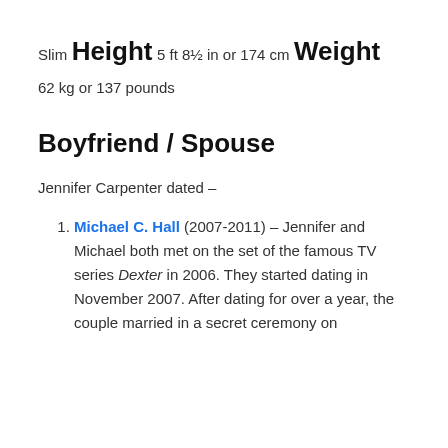Slim
Height
5 ft 8½ in or 174 cm
Weight
62 kg or 137 pounds
Boyfriend / Spouse
Jennifer Carpenter dated –
Michael C. Hall (2007-2011) – Jennifer and Michael both met on the set of the famous TV series Dexter in 2006. They started dating in November 2007. After dating for over a year, the couple married in a secret ceremony on